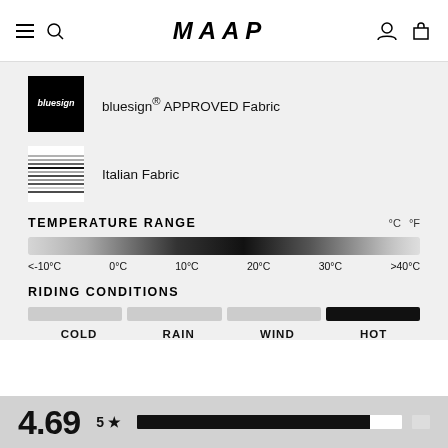MAAP
[Figure (logo): bluesign APPROVED Fabric logo badge - black square with bluesign text]
bluesign® APPROVED Fabric
[Figure (logo): Italian Fabric badge - striped fabric texture image]
Italian Fabric
TEMPERATURE RANGE
[Figure (continuous-plot): Temperature range gradient bar from light grey on left to dark black in middle to light grey on right, spanning <-10°C to >40°C]
<-10°C   0°C   10°C   20°C   30°C   >40°C
RIDING CONDITIONS
[Figure (infographic): Riding conditions bar chart with four segments: COLD (light), RAIN (light), WIND (light), HOT (dark/filled)]
COLD   RAIN   WIND   HOT
4.69
5★